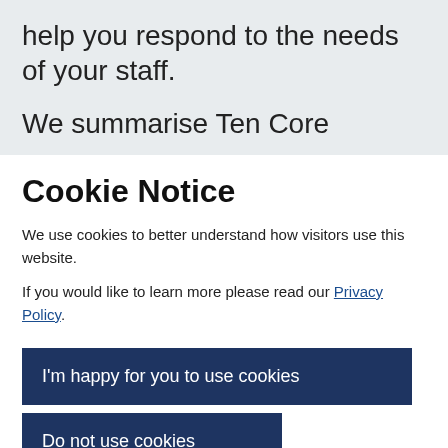help you respond to the needs of your staff.
We summarise Ten Core
Cookie Notice
We use cookies to better understand how visitors use this website.
If you would like to learn more please read our Privacy Policy.
I'm happy for you to use cookies
Do not use cookies